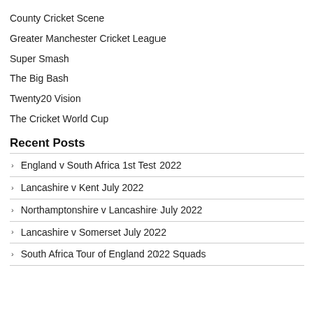County Cricket Scene
Greater Manchester Cricket League
Super Smash
The Big Bash
Twenty20 Vision
The Cricket World Cup
Recent Posts
England v South Africa 1st Test 2022
Lancashire v Kent July 2022
Northamptonshire v Lancashire July 2022
Lancashire v Somerset July 2022
South Africa Tour of England 2022 Squads